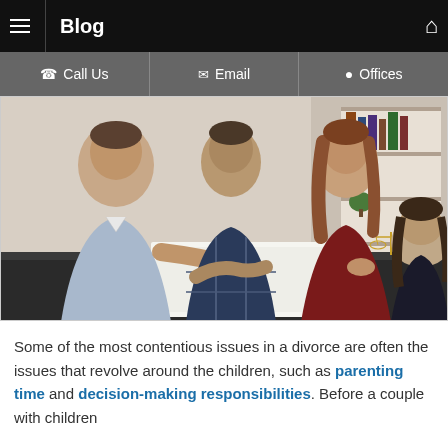Blog
[Figure (photo): A man in a light blue shirt signing documents at a table, with a boy in a plaid shirt and a woman in a dark red top looking on, and another person's back visible in the foreground. A small scales of justice figurine is visible on the table, suggesting a legal or custody meeting setting.]
Some of the most contentious issues in a divorce are often the issues that revolve around the children, such as parenting time and decision-making responsibilities. Before a couple with children